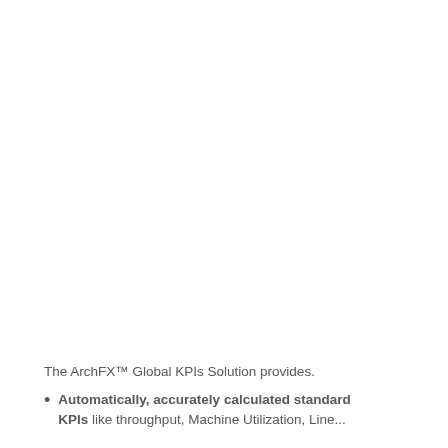The ArchFX™ Global KPIs Solution provides.
Automatically, accurately calculated standard KPIs like throughput, Machine Utilization, Line...